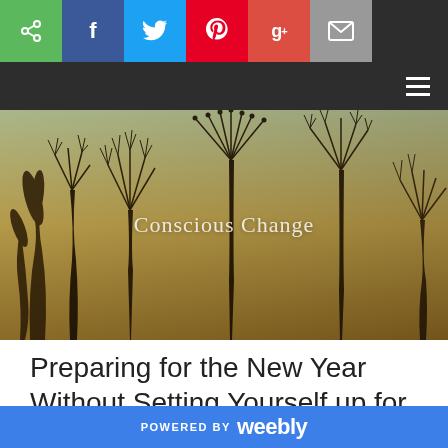[Figure (screenshot): Social sharing bar with icons: share (green), Facebook (blue), Twitter (light blue), Pinterest (red), Google+ (red-orange), email (grey)]
[Figure (photo): Hero banner image showing dried plant stems and branches silhouetted against a warm golden-teal sky, with semi-transparent 'Conscious Change' text overlay]
Preparing for the New Year Without Setting Yourself up for Failure
POWERED BY weebly